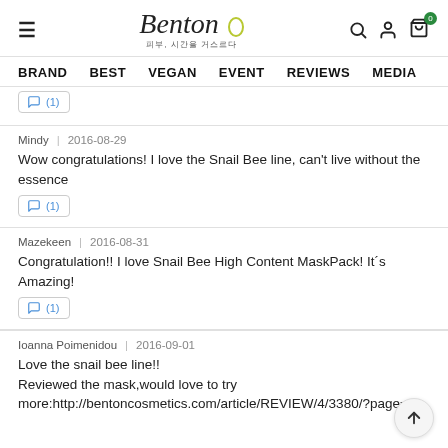Benton 피부, 시간을 거스르다 | BRAND BEST VEGAN EVENT REVIEWS MEDIA
(1)
Mindy | 2016-08-29
Wow congratulations! I love the Snail Bee line, can't live without the essence
(1)
Mazekeen | 2016-08-31
Congratulation!! I love Snail Bee High Content MaskPack! It´s Amazing!
(1)
Ioanna Poimenidou | 2016-09-01
Love the snail bee line!!
Reviewed the mask,would love to try more:http://bentoncosmetics.com/article/REVIEW/4/3380/?page=6